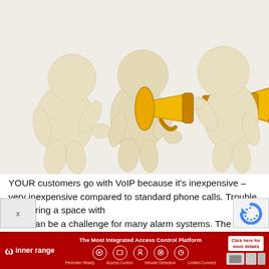[Figure (illustration): Three clay/3D figurines: two on the left facing right (appearing to whisper or communicate), and one on the right facing left while holding a large yellow megaphone/bullhorn to their mouth.]
YOUR customers go with VoIP because it's inexpensive – very inexpensive compared to standard phone calls. Trouble is, sharing a space with VoIP can be a challenge for many alarm systems. The la... want is to
[Figure (infographic): Inner Range advertisement banner at the bottom. Red background with 'The Most Integrated Access Control Platform' text, Inner Range logo (omega symbol), five circular icons for features, a 'Click here for more details' button, and device screen previews.]